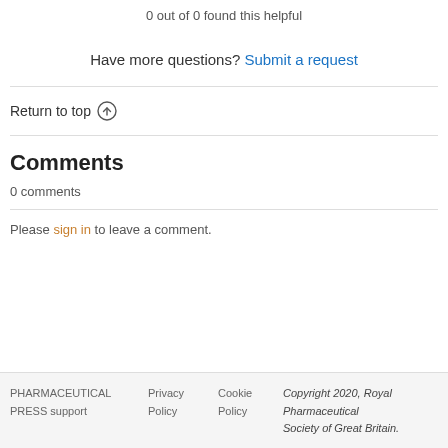0 out of 0 found this helpful
Have more questions? Submit a request
Return to top ↑
Comments
0 comments
Please sign in to leave a comment.
PHARMACEUTICAL PRESS support   Privacy Policy   Cookie Policy   Copyright 2020, Royal Pharmaceutical Society of Great Britain.